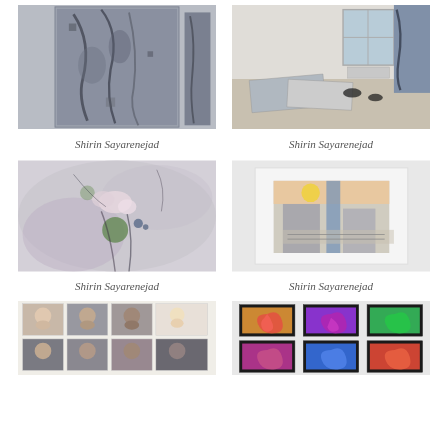[Figure (photo): Abstract painting with dark blue-grey textural marks on tall vertical canvas, hung on wall]
Shirin Sayarenejad
[Figure (photo): Studio room with paintings on floor and wall, abstract works in blue-grey tones]
Shirin Sayarenejad
[Figure (photo): Abstract painting with soft grey background, green and pink floral marks and dark flowing lines]
Shirin Sayarenejad
[Figure (photo): Framed mixed media artwork on white wall showing cityscape with orange sky and text]
Shirin Sayarenejad
[Figure (photo): Grid of passport-style portrait photographs of diverse individuals including children and adults]
[Figure (photo): Gallery wall with six framed abstract artworks featuring colorful swirling patterns on dark backgrounds]